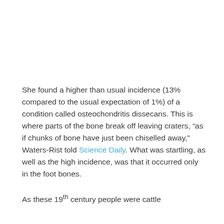She found a higher than usual incidence (13% compared to the usual expectation of 1%) of a condition called osteochondritis dissecans. This is where parts of the bone break off leaving craters, “as if chunks of bone have just been chiselled away,” Waters-Rist told Science Daily. What was startling, as well as the high incidence, was that it occurred only in the foot bones.
As these 19th century people were cattle